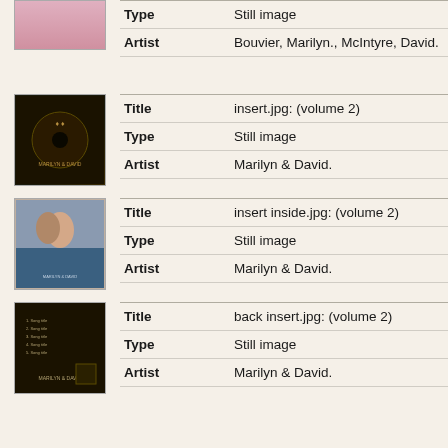| Field | Value |
| --- | --- |
| Type | Still image |
| Artist | Bouvier, Marilyn., McIntyre, David. |
| Field | Value |
| --- | --- |
| Title | insert.jpg: (volume 2) |
| Type | Still image |
| Artist | Marilyn & David. |
| Field | Value |
| --- | --- |
| Title | insert inside.jpg: (volume 2) |
| Type | Still image |
| Artist | Marilyn & David. |
| Field | Value |
| --- | --- |
| Title | back insert.jpg: (volume 2) |
| Type | Still image |
| Artist | Marilyn & David. |